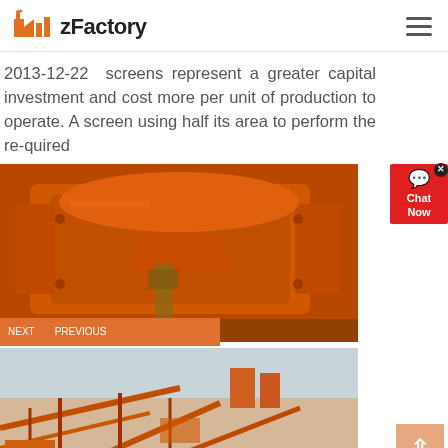zFactory
2013-12-22  screens represent a greater capital investment and cost more per unit of production to operate. A screen using half its area to perform the re-quired
[Figure (photo): Orange heavy industrial impact crusher / hammer mill machine photographed outdoors]
[Figure (photo): Aerial view of an orange industrial quarry or mining plant with conveyor belts and machinery]